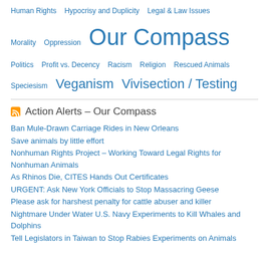Human Rights  Hypocrisy and Duplicity  Legal & Law Issues
Morality  Oppression  Our Compass
Politics  Profit vs. Decency  Racism  Religion  Rescued Animals
Speciesism  Veganism  Vivisection / Testing
Action Alerts – Our Compass
Ban Mule-Drawn Carriage Rides in New Orleans
Save animals by little effort
Nonhuman Rights Project – Working Toward Legal Rights for Nonhuman Animals
As Rhinos Die, CITES Hands Out Certificates
URGENT: Ask New York Officials to Stop Massacring Geese
Please ask for harshest penalty for cattle abuser and killer
Nightmare Under Water U.S. Navy Experiments to Kill Whales and Dolphins
Tell Legislators in Taiwan to Stop Rabies Experiments on Animals